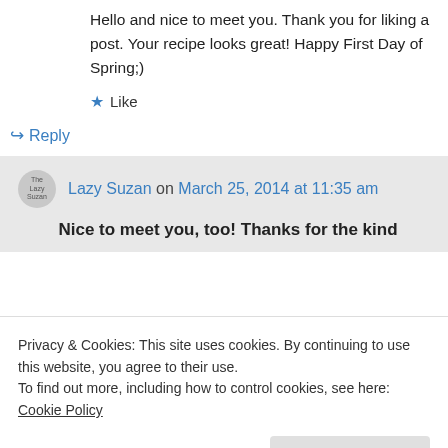Hello and nice to meet you. Thank you for liking a post. Your recipe looks great! Happy First Day of Spring;)
Like
Reply
Lazy Suzan on March 25, 2014 at 11:35 am
Nice to meet you, too! Thanks for the kind
Privacy & Cookies: This site uses cookies. By continuing to use this website, you agree to their use.
To find out more, including how to control cookies, see here: Cookie Policy
Close and accept